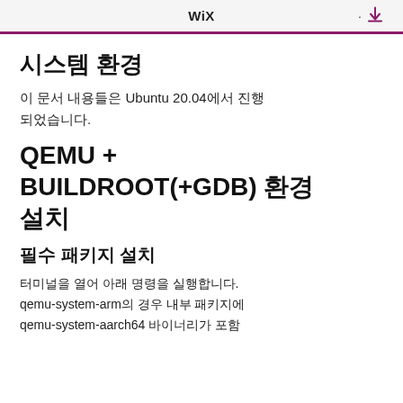WiX
시스템 환경
이 문서 내용들은 Ubuntu 20.04에서 진행되었습니다.
QEMU + BUILDROOT(+GDB) 환경 설치
필수 패키지 설치
터미널을 열어 아래 명령을 실행합니다. qemu-system-arm의 경우 내부 패키지에 qemu-system-aarch64 바이너리가 포함